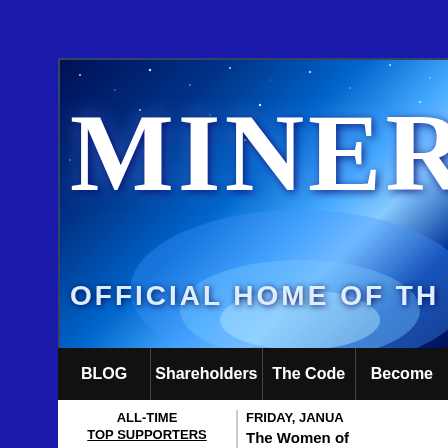[Figure (screenshot): Website banner with dark blue starfield background, large white serif text 'MINER' and subtitle 'OFFICIAL HOME OF TH' with glowing blue light effect]
BLOG | Shareholders | The Code | Become
ALL-TIME
TOP SUPPORTERS
[Figure (logo): Dark gray square logo with crossed swords and caduceus (medical symbol) in white]
FRIDAY, JANUA
The Women of
What do women war stations, or perhaps New Order knew bew